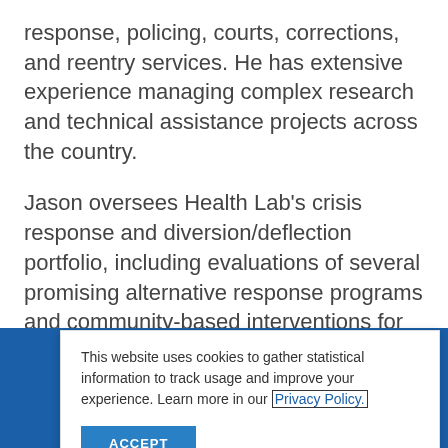response, policing, courts, corrections, and reentry services. He has extensive experience managing complex research and technical assistance projects across the country.
Jason oversees Health Lab's crisis response and diversion/deflection portfolio, including evaluations of several promising alternative response programs and community-based interventions for multi-system “high-utilizers.” He also manages the lab's body of 911 predictive analytics and qualitative work
This website uses cookies to gather statistical information to track usage and improve your experience. Learn more in our Privacy Policy.
ACCEPT